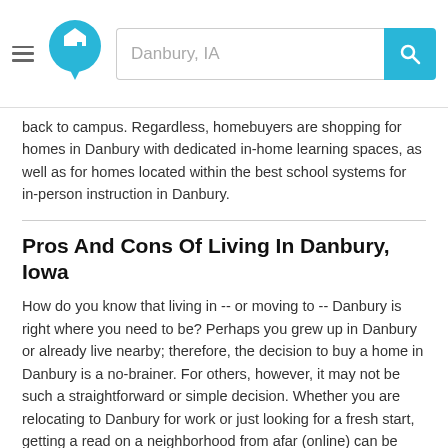Danbury, IA [search bar with logo]
back to campus. Regardless, homebuyers are shopping for homes in Danbury with dedicated in-home learning spaces, as well as for homes located within the best school systems for in-person instruction in Danbury.
Pros And Cons Of Living In Danbury, Iowa
How do you know that living in -- or moving to -- Danbury is right where you need to be? Perhaps you grew up in Danbury or already live nearby; therefore, the decision to buy a home in Danbury is a no-brainer. For others, however, it may not be such a straightforward or simple decision. Whether you are relocating to Danbury for work or just looking for a fresh start, getting a read on a neighborhood from afar (online) can be tricky... and exhausting.
Here are some questions to ask yourself when shopping for foreclosed homes for sale in Danbury:
What type of neighborhood environment (suburban,